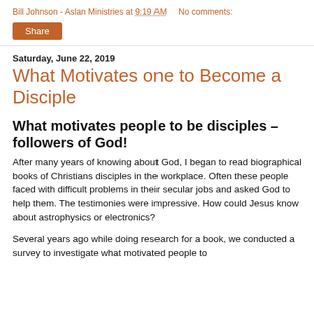Bill Johnson - Aslan Ministries at 9:19 AM    No comments:
Share
Saturday, June 22, 2019
What Motivates one to Become a Disciple
What motivates people to be disciples – followers of God!
After many years of knowing about God, I began to read biographical books of Christians disciples in the workplace. Often these people faced with difficult problems in their secular jobs and asked God to help them. The testimonies were impressive. How could Jesus know about astrophysics or electronics?
Several years ago while doing research for a book, we conducted a survey to investigate what motivated people to